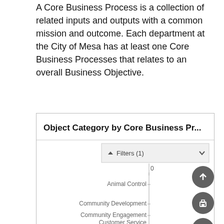A Core Business Process is a collection of related inputs and outputs with a common mission and outcome. Each department at the City of Mesa has at least one Core Business Processes that relates to an overall Business Objective.
[Figure (screenshot): A partially visible bar chart titled 'Object Category by Core Business Pr...' with a Filters (1) dropdown. The chart shows y-axis labels: Animal Control, Community Development, Community Engagement, Customer Service. The x-axis starts at 0. Three floating action buttons (up arrow, print, presentation) appear on the right side.]